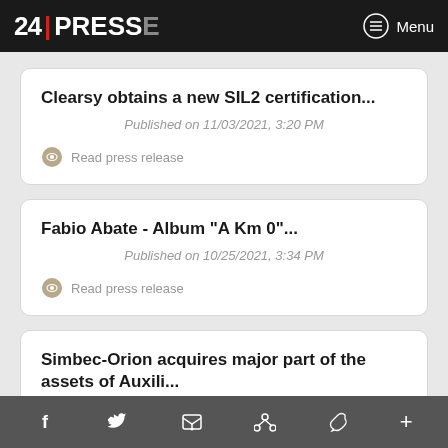24 | PRESSE  Menu
Clearsy obtains a new SIL2 certification...
Published on 11/03/2021, 3:20 PM
Read press release
Fabio Abate - Album "A Km 0"...
Published on 10/25/2021, 3:34 PM
Read press release
Simbec-Orion acquires major part of the assets of Auxili...
f  Twitter  Email  Pinterest  WhatsApp  +